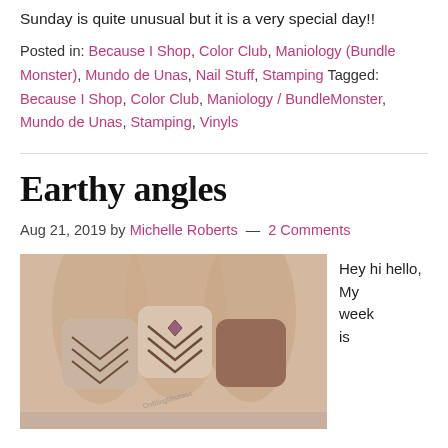Sunday is quite unusual but it is a very special day!!
Posted in: Because I Shop, Color Club, Maniology (Bundle Monster), Mundo de Unas, Nail Stuff, Stamping Tagged: Because I Shop, Color Club, Maniology / BundleMonster, Mundo de Unas, Stamping, Vinyls
Earthy angles
Aug 21, 2019 by Michelle Roberts — 2 Comments
[Figure (photo): Close-up photo of a hand showing nails with earthy-toned geometric stamping art in brown and taupe chevron/diamond patterns.]
Hey hi hello, My week is